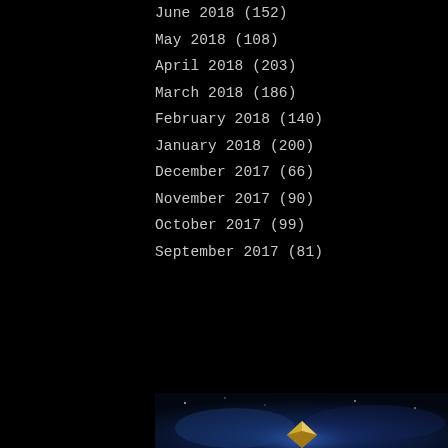June 2018 (152)
May 2018 (108)
April 2018 (203)
March 2018 (186)
February 2018 (140)
January 2018 (200)
December 2017 (66)
November 2017 (90)
October 2017 (99)
September 2017 (81)
[Figure (photo): Dark blue nebula/space scene with a glowing diamond or gem shape at the bottom center, deep blue cosmic background]